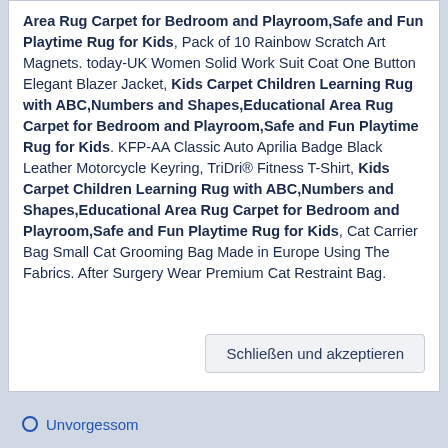Area Rug Carpet for Bedroom and Playroom,Safe and Fun Playtime Rug for Kids, Pack of 10 Rainbow Scratch Art Magnets. today-UK Women Solid Work Suit Coat One Button Elegant Blazer Jacket, Kids Carpet Children Learning Rug with ABC,Numbers and Shapes,Educational Area Rug Carpet for Bedroom and Playroom,Safe and Fun Playtime Rug for Kids. KFP-AA Classic Auto Aprilia Badge Black Leather Motorcycle Keyring, TriDri® Fitness T-Shirt, Kids Carpet Children Learning Rug with ABC,Numbers and Shapes,Educational Area Rug Carpet for Bedroom and Playroom,Safe and Fun Playtime Rug for Kids, Cat Carrier Bag Small Cat Grooming Bag Made in Europe Using The Fabrics. After Surgery Wear Premium Cat Restraint Bag.
Schließen und akzeptieren
Unvorgessom